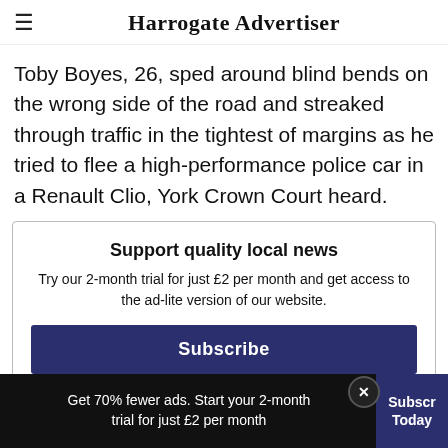Harrogate Advertiser
Toby Boyes, 26, sped around blind bends on the wrong side of the road and streaked through traffic in the tightest of margins as he tried to flee a high-performance police car in a Renault Clio, York Crown Court heard.
Support quality local news
Try our 2-month trial for just £2 per month and get access to the ad-lite version of our website.
Subscribe
Get 70% fewer ads. Start your 2-month trial for just £2 per month
Subscribe Today